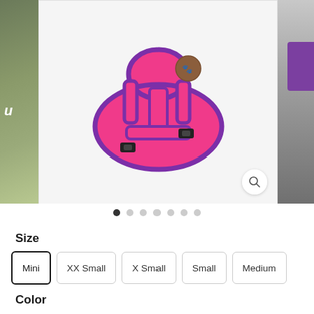[Figure (photo): Pink and purple mesh dog harness with black buckles and a brown logo patch, displayed on a white background. Side panels show partial blurred background images.]
● ○ ○ ○ ○ ○ ○
Size
Mini
XX Small
X Small
Small
Medium
Color